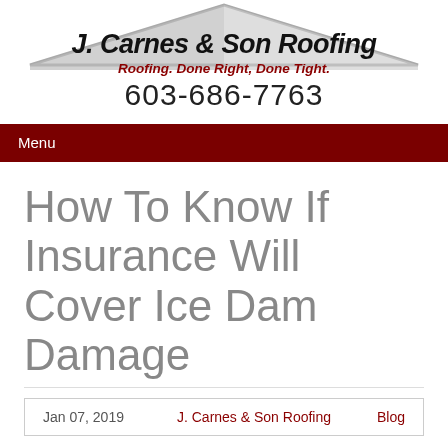[Figure (logo): J. Carnes & Son Roofing company logo with roof silhouette graphic, company name in bold italic black text, tagline 'Roofing. Done Right, Done Tight.' in dark red italic, and phone number 603-686-7763]
Menu
How To Know If Insurance Will Cover Ice Dam Damage
Jan 07, 2019   J. Carnes & Son Roofing   Blog
[Figure (photo): Partial image showing blue/icy background with dark red diagonal banner overlay, text partially visible reading 'YOU SHOULD KNOW ABOUT' and 'RANCE']